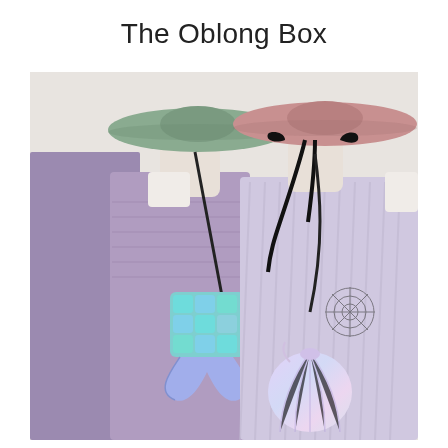The Oblong Box
[Figure (photo): Two mannequin torsos styled with fashion accessories: left mannequin wears a purple/lavender ruched long-sleeve dress and a sage green wide-brim hat, holding an iridescent mermaid tail crossbody bag; right mannequin wears a pale lavender pleated halter dress with a spider web print, a dusty rose wide-brim hat with black ribbon ties, and an iridescent shell-shaped crossbody bag. Background is light gray/white.]